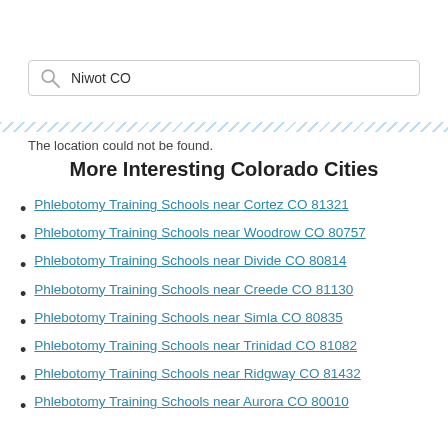Niwot CO
The location could not be found.
More Interesting Colorado Cities
Phlebotomy Training Schools near Cortez CO 81321
Phlebotomy Training Schools near Woodrow CO 80757
Phlebotomy Training Schools near Divide CO 80814
Phlebotomy Training Schools near Creede CO 81130
Phlebotomy Training Schools near Simla CO 80835
Phlebotomy Training Schools near Trinidad CO 81082
Phlebotomy Training Schools near Ridgway CO 81432
Phlebotomy Training Schools near Aurora CO 80010